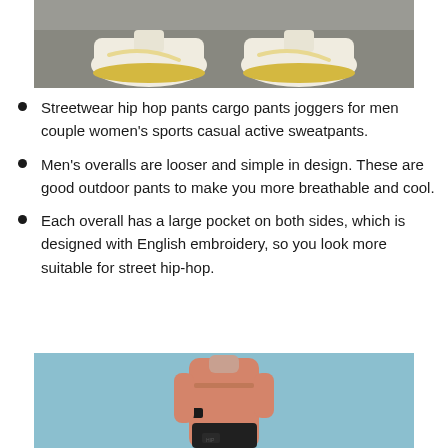[Figure (photo): Photo of white Nike sneakers with yellow soles on a pavement surface]
Streetwear hip hop pants cargo pants joggers for men couple women's sports casual active sweatpants.
Men's overalls are looser and simple in design. These are good outdoor pants to make you more breathable and cool.
Each overall has a large pocket on both sides, which is designed with English embroidery, so you look more suitable for street hip-hop.
[Figure (photo): Photo of a person wearing a salmon/peach colored sweatshirt and dark cargo pants with a watch, against a light blue background]